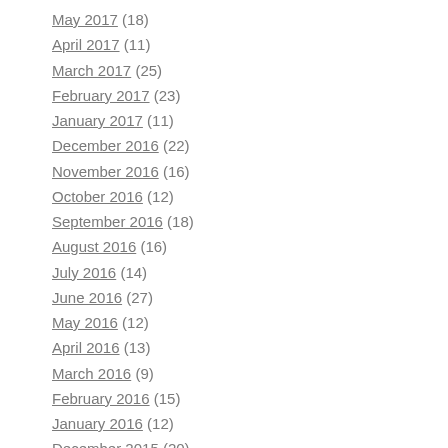May 2017 (18)
April 2017 (11)
March 2017 (25)
February 2017 (23)
January 2017 (11)
December 2016 (22)
November 2016 (16)
October 2016 (12)
September 2016 (18)
August 2016 (16)
July 2016 (14)
June 2016 (27)
May 2016 (12)
April 2016 (13)
March 2016 (9)
February 2016 (15)
January 2016 (12)
December 2015 (20)
November 2015 (20)